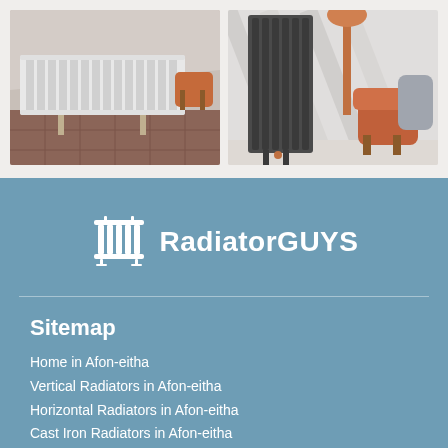[Figure (photo): White horizontal radiator in a room with terracotta tiles and orange chair]
[Figure (photo): Dark grey vertical radiator in a room with copper lamp and orange armchair]
[Figure (logo): RadiatorGUYS logo with radiator icon and text]
Sitemap
Home in Afon-eitha
Vertical Radiators in Afon-eitha
Horizontal Radiators in Afon-eitha
Cast Iron Radiators in Afon-eitha
Towel Radiators in Afon-eitha
Electric Radiators in Afon-eitha